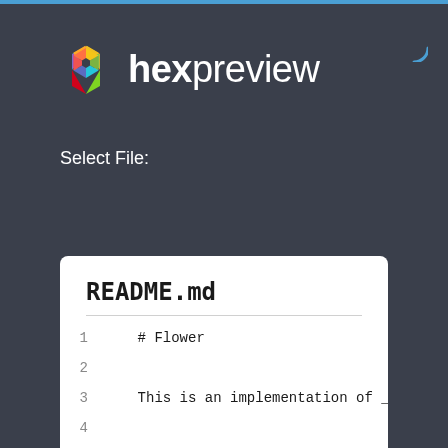hexpreview
Select File:
README.md
README.md
1    # Flower
2
3    This is an implementation of __Bl
4
5    #### What are Bloom Filter?
6    __TL;DR__: *Huge amount of data